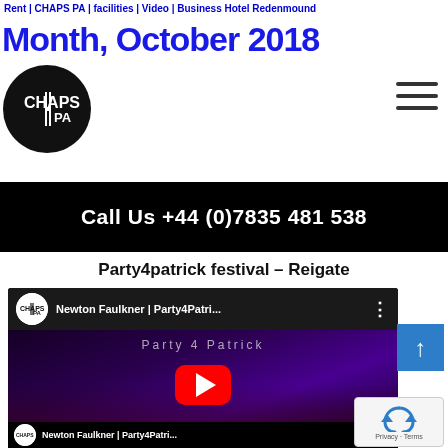Rent | CHAPS PA | facilities | Video | Business Hotel Redenmound
Month, October 2018
[Figure (logo): CHAPS PA logo - circular black logo with CHAPS PA text]
Call Us +44 (0)7835 481 538
Party4patrick festival – Reigate
[Figure (screenshot): YouTube video thumbnail for Newton Faulkner | Party4Patri... with CHAPS PA channel icon, play button, and stage/concert imagery. A blue scroll-up button and reCAPTCHA badge are overlaid.]
[Figure (screenshot): Bottom strip showing another YouTube video: Newton Faulkner | Party4Patri... with CHAPS PA avatar]